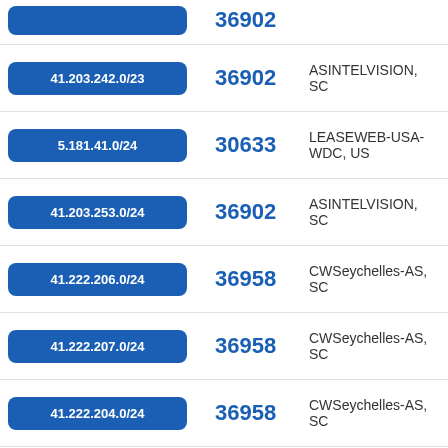[partial row - top cut off]
41.203.242.0/23 | 36902 | ASINTELVISION, SC
5.181.41.0/24 | 30633 | LEASEWEB-USA-WDC, US
41.203.253.0/24 | 36902 | ASINTELVISION, SC
41.222.206.0/24 | 36958 | CWSeychelles-AS, SC
41.222.207.0/24 | 36958 | CWSeychelles-AS, SC
41.222.204.0/24 | 36958 | CWSeychelles-AS, SC
41.220.99.0/24 | 36902 | ASINTELVISION, SC